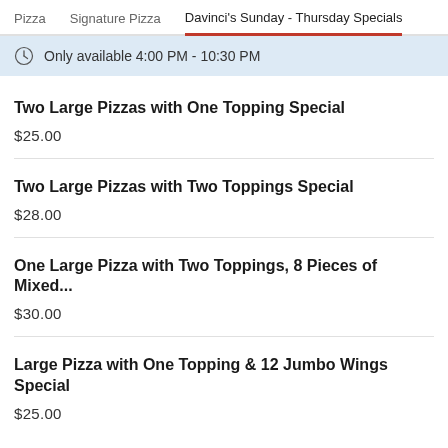Pizza   Signature Pizza   Davinci's Sunday - Thursday Specials
Only available 4:00 PM - 10:30 PM
Two Large Pizzas with One Topping Special
$25.00
Two Large Pizzas with Two Toppings Special
$28.00
One Large Pizza with Two Toppings, 8 Pieces of Mixed...
$30.00
Large Pizza with One Topping & 12 Jumbo Wings Special
$25.00